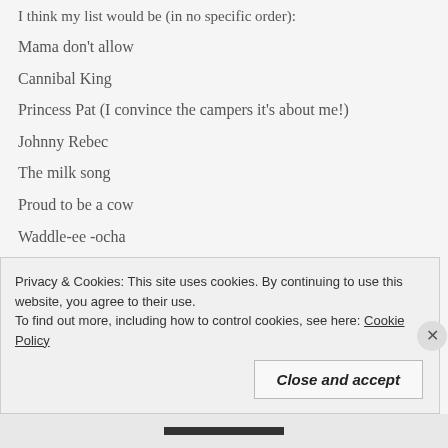I think my list would be (in no specific order):
Mama don't allow
Cannibal King
Princess Pat (I convince the campers it's about me!)
Johnny Rebec
The milk song
Proud to be a cow
Waddle-ee -ocha
Show me the way
Show me a smile
Privacy & Cookies: This site uses cookies. By continuing to use this website, you agree to their use. To find out more, including how to control cookies, see here: Cookie Policy
Close and accept